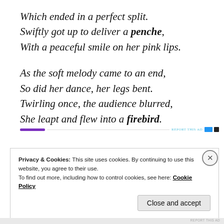Which ended in a perfect split.
Swiftly got up to deliver a penche,
With a peaceful smile on her pink lips.

As the soft melody came to an end,
So did her dance, her legs bent.
Twirling once, the audience blurred,
She leapt and flew into a firebird.
[Figure (other): Advertisement bar with purple and blue elements and REPORT THIS AD label]
Privacy & Cookies: This site uses cookies. By continuing to use this website, you agree to their use.
To find out more, including how to control cookies, see here: Cookie Policy
Close and accept